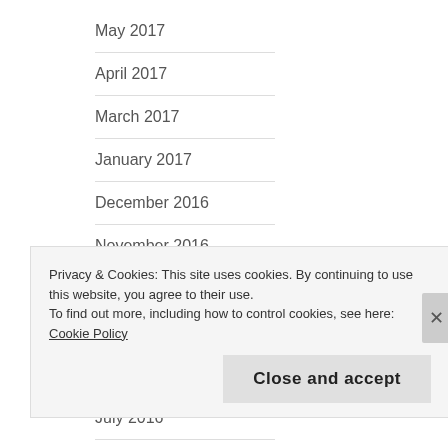May 2017
April 2017
March 2017
January 2017
December 2016
November 2016
October 2016
September 2016
August 2016
July 2016
Privacy & Cookies: This site uses cookies. By continuing to use this website, you agree to their use.
To find out more, including how to control cookies, see here: Cookie Policy
Close and accept